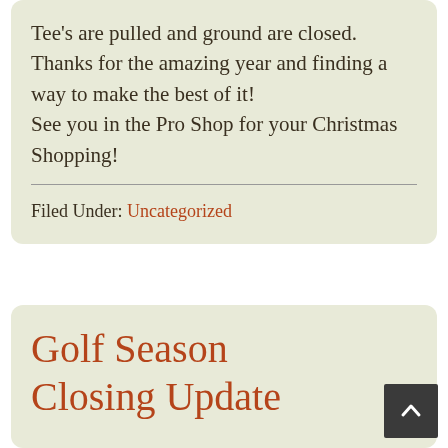Tee's are pulled and ground are closed. Thanks for the amazing year and finding a way to make the best of it! See you in the Pro Shop for your Christmas Shopping!
Filed Under: Uncategorized
Golf Season Closing Update